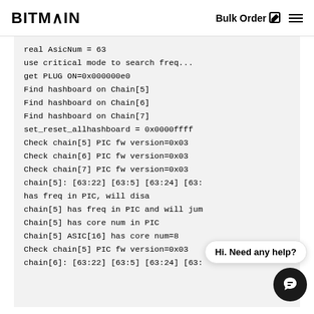BITMAIN  Bulk Order ☑ ☰
real AsicNum = 63
use critical mode to search freq...
get PLUG ON=0x000000e0
Find hashboard on Chain[5]
Find hashboard on Chain[6]
Find hashboard on Chain[7]
set_reset_allhashboard = 0x0000ffff
Check chain[5] PIC fw version=0x03
Check chain[6] PIC fw version=0x03
Check chain[7] PIC fw version=0x03
chain[5]: [63:22] [63:5] [63:24] [63:
has freq in PIC, will disab
chain[5] has freq in PIC and will jum
Chain[5] has core num in PIC
Chain[5] ASIC[16] has core num=8
Check chain[5] PIC fw version=0x03
chain[6]: [63:22] [63:5] [63:24] [63: